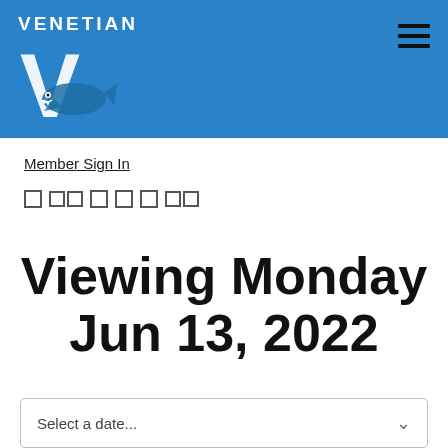VENETIAN — Logo with shark and V, hamburger menu
Member Sign In
[Figure (other): Social media icon row with small square icons]
Viewing Monday Jun 13, 2022
Select a date...